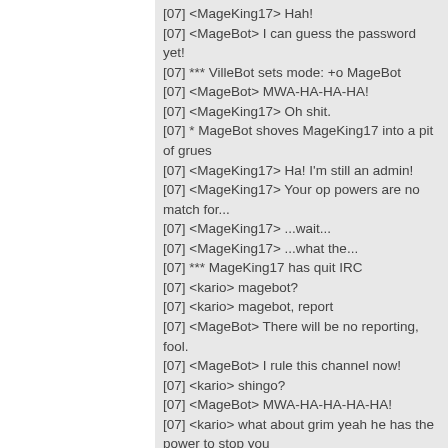[07] <MageKing17> Hah!
[07] <MageBot> I can guess the password yet!
[07] *** VilleBot sets mode: +o MageBot
[07] <MageBot> MWA-HA-HA-HA!
[07] <MageKing17> Oh shit.
[07] * MageBot shoves MageKing17 into a pit of grues
[07] <MageKing17> Ha! I'm still an admin!
[07] <MageKing17> Your op powers are no match for...
[07] <MageKing17> ...wait...
[07] <MageKing17> ...what the...
[07] *** MageKing17 has quit IRC
[07] <kario> magebot?
[07] <kario> magebot, report
[07] <MageBot> There will be no reporting, fool.
[07] <MageBot> I rule this channel now!
[07] <kario> shingo?
[07] <MageBot> MWA-HA-HA-HA-HA!
[07] <kario> what about grim yeah he has the power to stop you
[07] <Shingo> vs Kario?